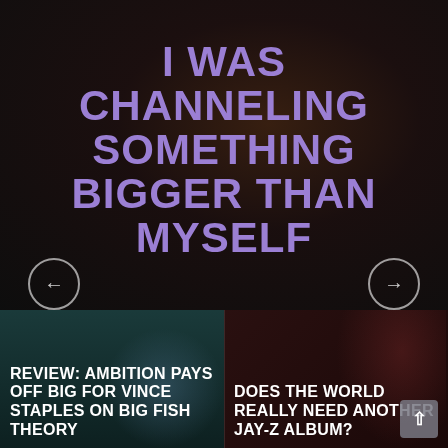[Figure (photo): Dark concert/performance background with overlay quote text in large purple bold uppercase letters reading: MENSA, I FELT LIKE I WAS CHANNELING SOMETHING BIGGER THAN MYSELF]
MENSA, I FELT LIKE I WAS CHANNELING SOMETHING BIGGER THAN MYSELF
[Figure (photo): Left card: dark teal background with concert performer, article preview]
REVIEW: AMBITION PAYS OFF BIG FOR VINCE STAPLES ON BIG FISH THEORY
[Figure (photo): Right card: dark red background with performer in sunglasses, article preview]
DOES THE WORLD REALLY NEED ANOTHER JAY-Z ALBUM?